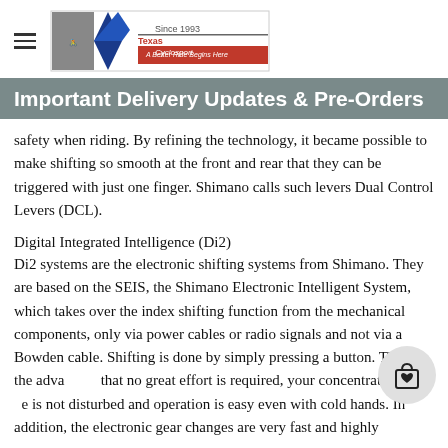Texas Cyclosport — Since 1993, A Better Ride Begins Here
Important Delivery Updates & Pre-Orders
safety when riding. By refining the technology, it became possible to make shifting so smooth at the front and rear that they can be triggered with just one finger. Shimano calls such levers Dual Control Levers (DCL).
Digital Integrated Intelligence (Di2)
Di2 systems are the electronic shifting systems from Shimano. They are based on the SEIS, the Shimano Electronic Intelligent System, which takes over the index shifting function from the mechanical components, only via power cables or radio signals and not via a Bowden cable. Shifting is done by simply pressing a button. This has the advantage that no great effort is required, your concentration can be is not disturbed and operation is easy even with cold hands. In addition, the electronic gear changes are very fast and highly